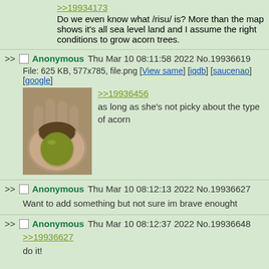>>19934173
Do we even know what /risu/ is? More than the map shows it's all sea level land and I assume the right conditions to grow acorn trees.
Anonymous Thu Mar 10 08:11:58 2022 No.19936619
File: 625 KB, 577x785, file.png [View same] [iqdb] [saucenao] [google]
>>19936456
as long as she's not picky about the type of acorn
[Figure (photo): A hand holding a large spiky acorn with a green bottom]
Anonymous Thu Mar 10 08:12:13 2022 No.19936627
Want to add something but not sure im brave enought
Anonymous Thu Mar 10 08:12:37 2022 No.19936648
>>19936627
do it!